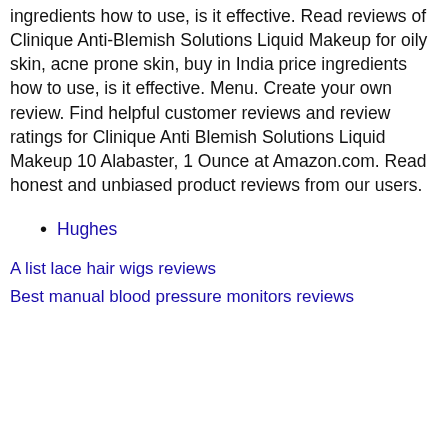ingredients how to use, is it effective. Read reviews of Clinique Anti-Blemish Solutions Liquid Makeup for oily skin, acne prone skin, buy in India price ingredients how to use, is it effective. Menu. Create your own review. Find helpful customer reviews and review ratings for Clinique Anti Blemish Solutions Liquid Makeup 10 Alabaster, 1 Ounce at Amazon.com. Read honest and unbiased product reviews from our users.
Hughes
A list lace hair wigs reviews
Best manual blood pressure monitors reviews